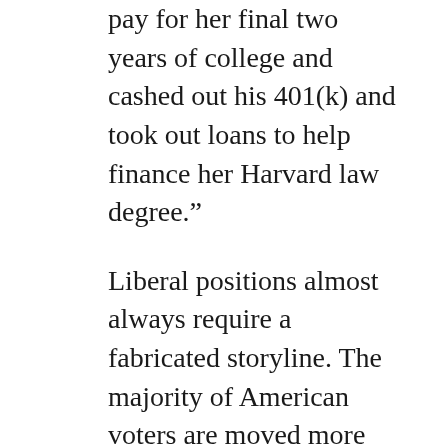pay for her final two years of college and cashed out his 401(k) and took out loans to help finance her Harvard law degree.”
Liberal positions almost always require a fabricated storyline. The majority of American voters are moved more by sentiment and emotion than reason. So when the facts don’t fit the narrative . . . lie. It’s OK since the cause is what’s important.
Don’t think these revelations will mean much to liberal voters. They will